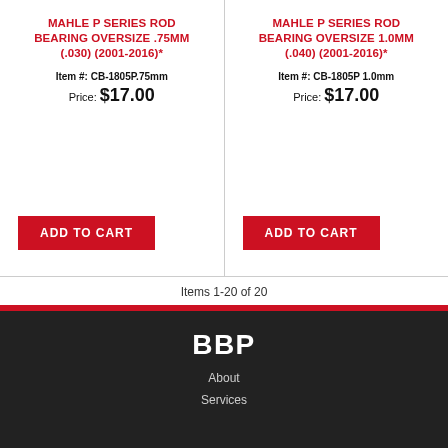MAHLE P SERIES ROD BEARING OVERSIZE .75MM (.030) (2001-2016)*
Item #: CB-1805P.75mm
Price: $17.00
MAHLE P SERIES ROD BEARING OVERSIZE 1.0MM (.040) (2001-2016)*
Item #: CB-1805P 1.0mm
Price: $17.00
Items 1-20 of 20
BBP
About
Services